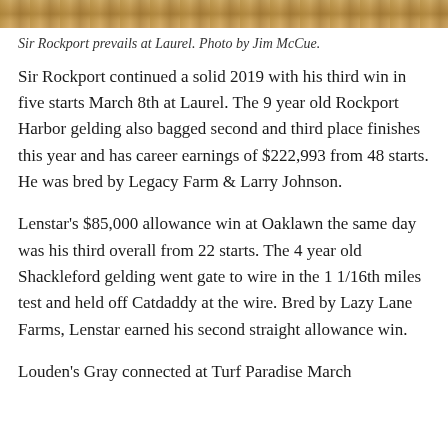[Figure (photo): Partial view of a horse racing photo at the top of the page — Sir Rockport at Laurel Park.]
Sir Rockport prevails at Laurel. Photo by Jim McCue.
Sir Rockport continued a solid 2019 with his third win in five starts March 8th at Laurel. The 9 year old Rockport Harbor gelding also bagged second and third place finishes this year and has career earnings of $222,993 from 48 starts. He was bred by Legacy Farm & Larry Johnson.
Lenstar's $85,000 allowance win at Oaklawn the same day was his third overall from 22 starts. The 4 year old Shackleford gelding went gate to wire in the 1 1/16th miles test and held off Catdaddy at the wire. Bred by Lazy Lane Farms, Lenstar earned his second straight allowance win.
Louden's Gray connected at Turf Paradise March